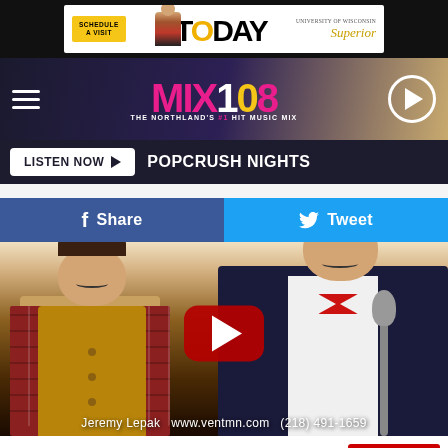[Figure (other): Top advertisement banner: SCHEDULE A VISIT | TODAY | University of Wisconsin Superior]
[Figure (other): MIX 108 radio station logo navigation bar with hamburger menu and play button. Tagline: THE NORTHLAND'S #1 HIT MUSIC MIX]
LISTEN NOW ▶  POPCRUSH NIGHTS
f Share   🐦 Tweet
[Figure (other): YouTube video thumbnail showing two people - a child in plaid shirt and vest, and an adult in dark vest with red bow tie at a microphone. Text overlay: Jeremy Lepak  www.ventmn.com  (218) 491-1659]
Subscribe to MIX 108 on  ▶ YouTube
[Figure (other): Bottom advertisement banner: SCHEDULE A VISIT | TODAY | University of Wisconsin Superior]